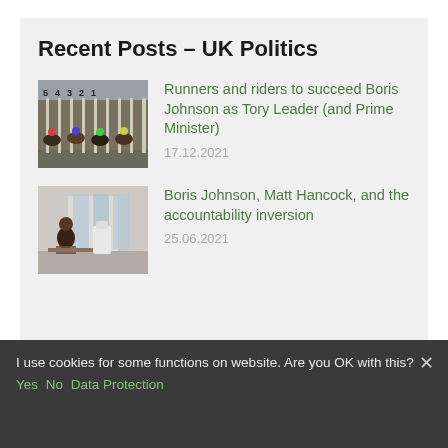Recent Posts – UK Politics
Runners and riders to succeed Boris Johnson as Tory Leader (and Prime Minister) — 17.12.2021
Boris Johnson, Matt Hancock, and the accountability inversion — 25.06.2021
I use cookies for some functions on website. Are you OK with this?
Yes   No   Data Protection
Recent Posts – Technology
Tweetbot 6 review: hello old friend